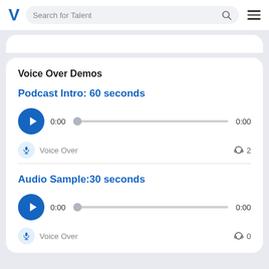Search for Talent
Voice Over Demos
Podcast Intro: 60 seconds
0:00  0:00
Voice Over  2
Audio Sample:30 seconds
0:00  0:00
Voice Over  0